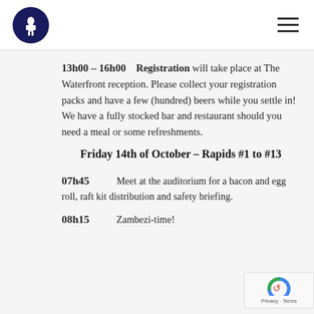[Figure (logo): Dark navy circular logo with a figure/soldier silhouette in white]
[Figure (other): Hamburger menu icon (three horizontal lines)]
13h00 – 16h00   Registration will take place at The Waterfront reception. Please collect your registration packs and have a few (hundred) beers while you settle in! We have a fully stocked bar and restaurant should you need a meal or some refreshments.
Friday 14th of October – Rapids #1 to #13
07h45   Meet at the auditorium for a bacon and egg roll, raft kit distribution and safety briefing.
08h15   Zambezi-time!